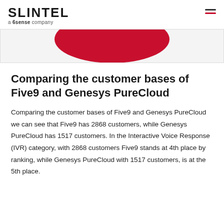SLINTEL a 6sense company
[Figure (illustration): Partial red circular/oval shape visible at top of a light gray bordered content card, suggesting a hero image or graphic element.]
Comparing the customer bases of Five9 and Genesys PureCloud
Comparing the customer bases of Five9 and Genesys PureCloud we can see that Five9 has 2868 customers, while Genesys PureCloud has 1517 customers. In the Interactive Voice Response (IVR) category, with 2868 customers Five9 stands at 4th place by ranking, while Genesys PureCloud with 1517 customers, is at the 5th place.